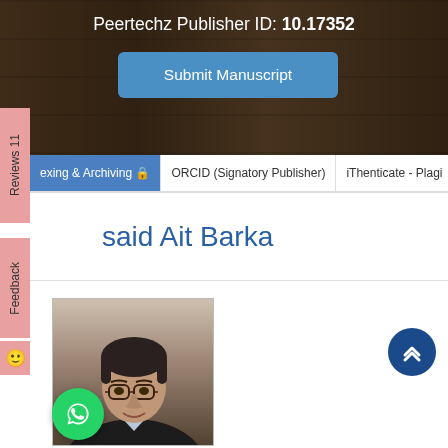Peertechz Publisher ID: 10.17352
Submit Manuscript
Reviews 11
exing & Archiving 🔒 | ORCID (Signatory Publisher) | iThenticate - Plagi
Feedback
said Ait Barka
[Figure (photo): Profile photo of said Ait Barka, a person wearing glasses and a dark jacket]